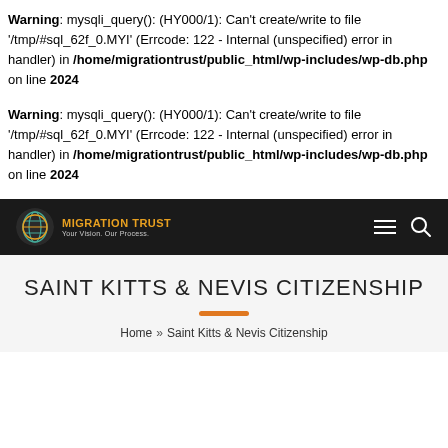Warning: mysqli_query(): (HY000/1): Can't create/write to file '/tmp/#sql_62f_0.MYI' (Errcode: 122 - Internal (unspecified) error in handler) in /home/migrationtrust/public_html/wp-includes/wp-db.php on line 2024
Warning: mysqli_query(): (HY000/1): Can't create/write to file '/tmp/#sql_62f_0.MYI' (Errcode: 122 - Internal (unspecified) error in handler) in /home/migrationtrust/public_html/wp-includes/wp-db.php on line 2024
[Figure (logo): Migration Trust logo with globe icon, orange text 'MIGRATION TRUST' and subtitle 'Your Vision. Our Process.' on dark navbar]
SAINT KITTS & NEVIS CITIZENSHIP
Home » Saint Kitts & Nevis Citizenship